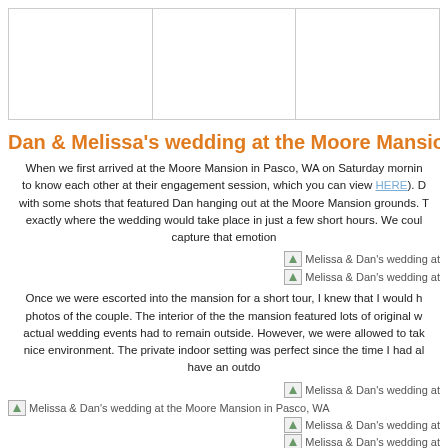[Figure (other): Navigation bar with three empty columns/cells]
Dan & Melissa's wedding at the Moore Mansion, Pasco WA
When we first arrived at the Moore Mansion in Pasco, WA on Saturday morning to know each other at their engagement session, which you can view HERE). D with some shots that featured Dan hanging out at the Moore Mansion grounds. T exactly where the wedding would take place in just a few short hours. We coul capture that emotion
[Figure (photo): Melissa & Dan's wedding at the Moore Mansion in Pasco, WA - image placeholder (first)]
[Figure (photo): Melissa & Dan's wedding at the Moore Mansion in Pasco, WA - image placeholder (second)]
Once we were escorted into the mansion for a short tour, I knew that I would h photos of the couple. The interior of the the mansion featured lots of original w actual wedding events had to remain outside. However, we were allowed to tak nice environment. The private indoor setting was perfect since the time I had al have an outdo
[Figure (photo): Melissa & Dan's wedding at the Moore Mansion in Pasco, WA - image placeholder (top right)]
[Figure (photo): Melissa & Dan's wedding at the Moore Mansion in Pasco, WA - wide image placeholder]
[Figure (photo): Melissa & Dan's wedding at the Moore Mansion in Pasco, WA - image placeholder]
[Figure (photo): Melissa & Dan's wedding at the Moore Mansion in Pasco, WA - image placeholder]
[Figure (photo): Melissa & Dan's wedding at the Moore Mansion in Pasco, WA - image placeholder]